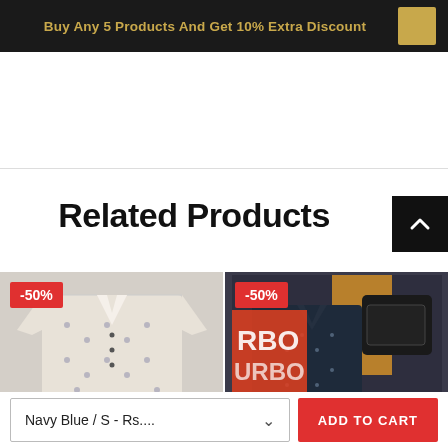Buy Any 5 Products And Get 10% Extra Discount
Related Products
[Figure (photo): White printed shirt with star/cross pattern, folded in a box, -50% discount badge]
[Figure (photo): Dark navy blue shirt displayed with accessories, -50% discount badge, Turbo brand packaging visible]
Navy Blue / S - Rs....
ADD TO CART